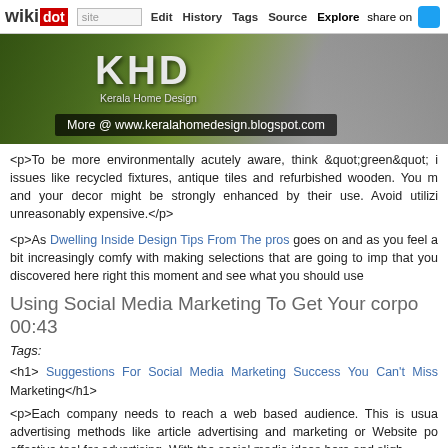wikidot | site | Edit | History | Tags | Source | Explore | Share on [Twitter]
[Figure (photo): Kerala Home Design banner with KHD logo, tropical greenery background, car in background, URL: More @ www.keralahomedesign.blogspot.com]
<p>To be more environmentally acutely aware, think &quot;green&quot; issues like recycled fixtures, antique tiles and refurbished wooden. You might and your decor might be strongly enhanced by their use. Avoid utilizing unreasonably expensive.</p>
<p>As Dwelling Inside Design Tips From The pros goes on and as you feel a bit increasingly comfy with making selections that are going to impact that you discovered here right this moment and see what you should use
Using Social Media Marketing To Get Your corpo... 00:43
Tags:
<h1> Suggestions For Social Media Marketing Success You Can't Miss Marketing</h1>
<p>Each company needs to reach a web based audience. This is usually advertising methods like article advertising and marketing or Website po effective tool for advertising. With the social media ideas here and sligh